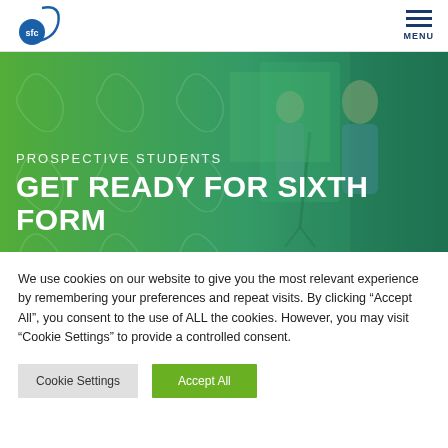SFC logo | MENU
[Figure (photo): Hero banner with a green gradient overlay showing students in a media/filming studio. Text overlay reads: PROSPECTIVE STUDENTS / GET READY FOR SIXTH FORM]
PROSPECTIVE STUDENTS
GET READY FOR SIXTH FORM
We use cookies on our website to give you the most relevant experience by remembering your preferences and repeat visits. By clicking “Accept All”, you consent to the use of ALL the cookies. However, you may visit “Cookie Settings” to provide a controlled consent.
Cookie Settings | Accept All